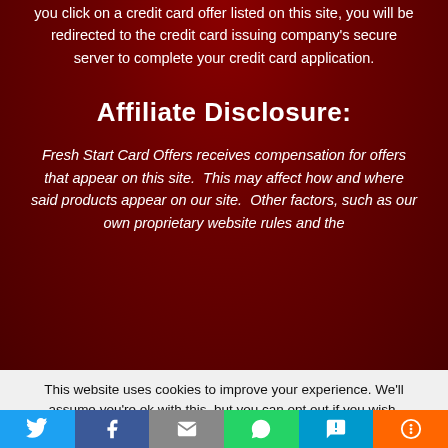you click on a credit card offer listed on this site, you will be redirected to the credit card issuing company's secure server to complete your credit card application.
Affiliate Disclosure:
Fresh Start Card Offers receives compensation for offers that appear on this site.  This may affect how and where said products appear on our site.  Other factors, such as our own proprietary website rules and the
This website uses cookies to improve your experience. We'll assume you're ok with this, but you can opt out if you wish.
[Figure (infographic): Social media share bar with Twitter, Facebook, Email, WhatsApp, SMS, and More buttons]